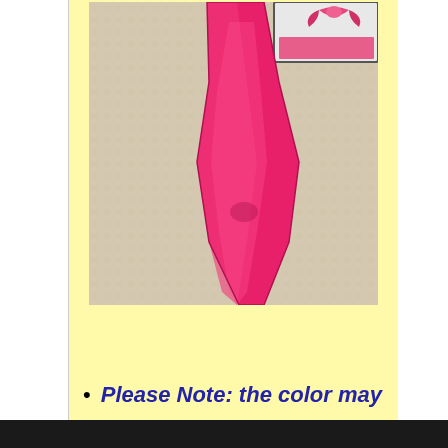[Figure (photo): Product photo of a hot pink/fuchsia satin necktie laid flat on a textured beige/cream background. A gift box with a pink bow is partially visible in the upper right corner. The tie is long and tapers to a point at the bottom.]
Please Note: the color may
Sign up!